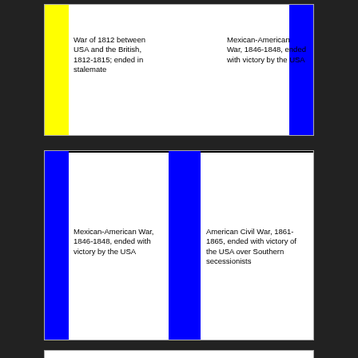[Figure (infographic): Timeline diagram showing two wars side by side. Left column: yellow bar with 'War of 1812 between USA and the British, 1812-1815; ended in stalemate'. Right side: blue bar with 'Mexican-American War, 1846-1848, ended with victory by the USA'. Background white.]
[Figure (infographic): Timeline diagram showing two wars side by side. Left blue bar: 'Mexican-American War, 1846-1848, ended with victory by the USA'. Middle blue bar divider. Right section: 'American Civil War, 1861-1865, ended with victory of the USA over Southern secessionists'.]